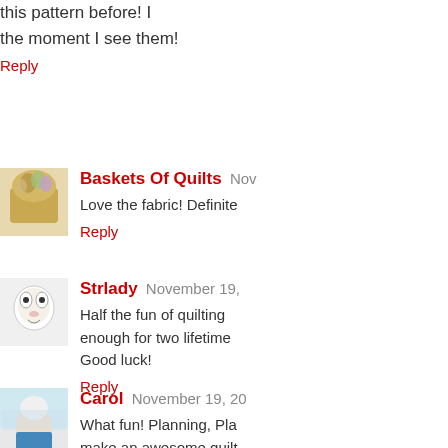this pattern before! I the moment I see them!
Reply
Baskets Of Quilts Nov
Love the fabric! Definite
Reply
Strlady November 19,
Half the fun of quilting enough for two lifetime Good luck!
Reply
Carol November 19, 20
What fun! Planning, Pla make an awesome quilt
Reply